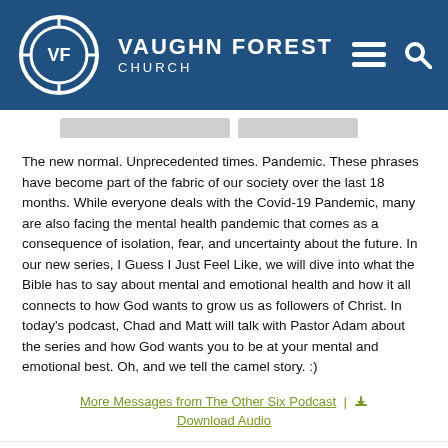VAUGHN FOREST CHURCH
The new normal. Unprecedented times. Pandemic. These phrases have become part of the fabric of our society over the last 18 months. While everyone deals with the Covid-19 Pandemic, many are also facing the mental health pandemic that comes as a consequence of isolation, fear, and uncertainty about the future. In our new series, I Guess I Just Feel Like, we will dive into what the Bible has to say about mental and emotional health and how it all connects to how God wants to grow us as followers of Christ. In today's podcast, Chad and Matt will talk with Pastor Adam about the series and how God wants you to be at your mental and emotional best. Oh, and we tell the camel story. :)
More Messages from The Other Six Podcast | Download Audio